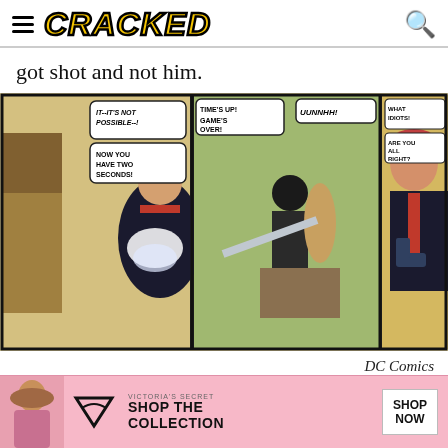CRACKED
got shot and not him.
[Figure (illustration): Three-panel comic book strip. Left panel: A figure in a suit faces a large enemy while glowing with a force field effect, speech bubble says 'IT--IT'S NOT POSSIBLE--!' and 'NOW YOU HAVE TWO SECONDS!'. Middle panel: Action scene with figures fighting in a jungle/outdoor setting, speech bubbles say 'TIME'S UP! GAME'S OVER!' and 'UUNNHH!'. Right panel: Close-up of a suited man with red tie holding a gun, speech bubbles say 'WHAT IDIOTS!' and 'ARE YOU ALL RIGHT?']
DC Comics
[Figure (screenshot): Advertisement banner for Victoria's Secret showing a model on the left, Victoria's Secret logo, and text 'SHOP THE COLLECTION' with a 'SHOP NOW' button on a pink background.]